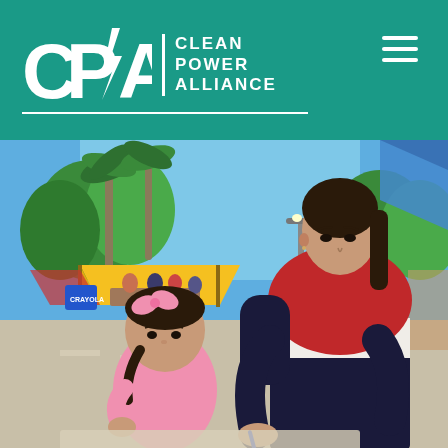CPA CLEAN POWER ALLIANCE
[Figure (photo): A woman in a red, white, and black color-blocked sweater leans over to assist a young girl wearing a pink outfit and hair bow. They are outdoors at a community event or fair, with palm trees, blue sky, a yellow pop-up canopy tent, and other attendees visible in the background.]